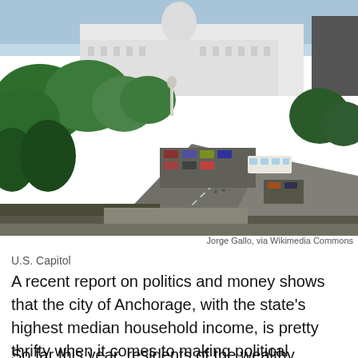[Figure (photo): Aerial view of the U.S. Capitol building with tree-lined boulevard and parked cars in foreground, taken from an elevated position. Photo credit: Jorge Gallo, via Wikimedia Commons]
U.S. Capitol
A recent report on politics and money shows that the city of Anchorage, with the state's highest median household income, is pretty thrifty when it comes to making political contributions.
So far this year, residents of the wealthy Louisville